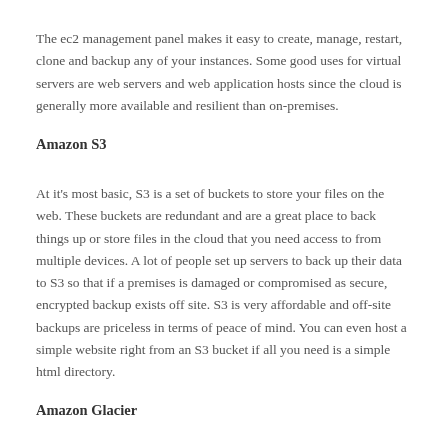The ec2 management panel makes it easy to create, manage, restart, clone and backup any of your instances. Some good uses for virtual servers are web servers and web application hosts since the cloud is generally more available and resilient than on-premises.
Amazon S3
At it's most basic, S3 is a set of buckets to store your files on the web. These buckets are redundant and are a great place to back things up or store files in the cloud that you need access to from multiple devices. A lot of people set up servers to back up their data to S3 so that if a premises is damaged or compromised as secure, encrypted backup exists off site. S3 is very affordable and off-site backups are priceless in terms of peace of mind. You can even host a simple website right from an S3 bucket if all you need is a simple html directory.
Amazon Glacier
Glacier is where you can backup your data really cheaply if you don't need it back in a hurry as requests for retrieving data take